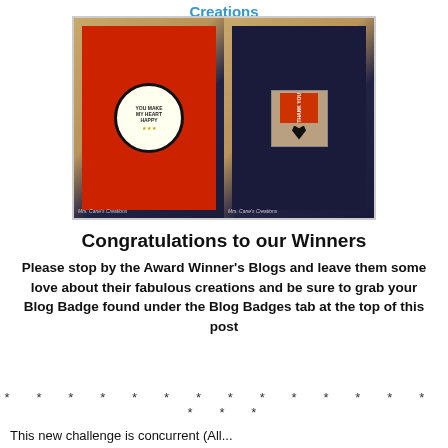Creations
[Figure (photo): Two handmade greeting cards side by side. Left card: red background with a circular white medallion reading 'YOU MAKE MY HEART HAPPY' with gold stars, set on a plaid/kraft background with dark navy band. Right card: dark navy background with a kraft pocket containing a red 'THANK YOU' insert card and a black heart cutout, tied with twine. Both cards have a watermark 'Mrs. Cane's Creations'.]
Congratulations to our Winners
Please stop by the Award Winner's Blogs and leave them some love about their fabulous creations and be sure to grab your Blog Badge found under the Blog Badges tab at the top of this post
* * * * * * * * * * * * * * * * *
This new challenge is concurrent (All...